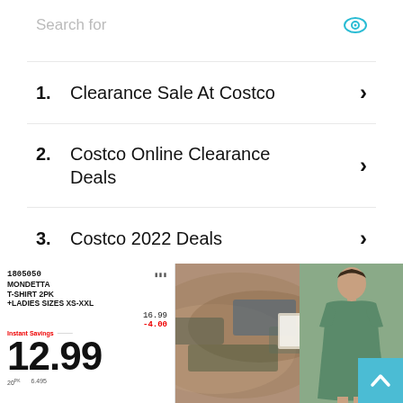Search for
1. Clearance Sale At Costco
2. Costco Online Clearance Deals
3. Costco 2022 Deals
Ad | Business Focus
[Figure (photo): Costco price tag showing MONDETTA T-SHIRT 2PK +LADIES SIZES XS-XXL, price $12.99 (was $16.99, instant savings $4.00), piled clothing items, and a woman in a green t-shirt dress]